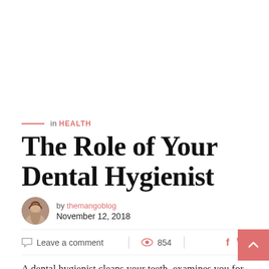[Figure (photo): Top image placeholder area (white space representing a photo)]
in HEALTH
The Role of Your Dental Hygienist
by themangoblog
November 12, 2018
Leave a comment   854
A dental hygienist cleans your teeth, examines you for oral